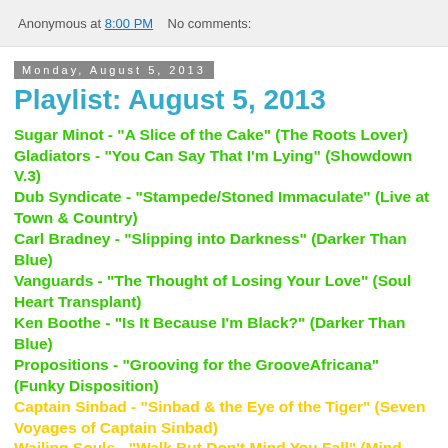Anonymous at 8:00 PM   No comments:
Monday, August 5, 2013
Playlist: August 5, 2013
Sugar Minot - "A Slice of the Cake" (The Roots Lover)
Gladiators - "You Can Say That I'm Lying" (Showdown V.3)
Dub Syndicate - "Stampede/Stoned Immaculate" (Live at Town & Country)
Carl Bradney - "Slipping into Darkness" (Darker Than Blue)
Vanguards - "The Thought of Losing Your Love" (Soul Heart Transplant)
Ken Boothe - "Is It Because I'm Black?" (Darker Than Blue)
Propositions - "Grooving for the GrooveAfricana" (Funky Disposition)
Captain Sinbad - "Sinbad & the Eye of the Tiger" (Seven Voyages of Captain Sinbad)
Wailing Souls - "Walk But Don't Mind You Fall" (Mind...